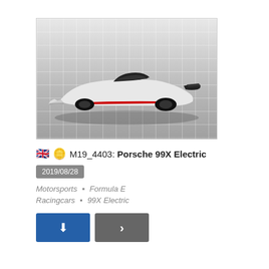[Figure (photo): Porsche 99X Electric Formula E racing car in white and black livery photographed in a studio with tiled floor and grid-panel background wall]
🇬🇧 🪙 M19_4403: Porsche 99X Electric
2019/08/28
Motorsports • Formula E
Racingcars • 99X Electric